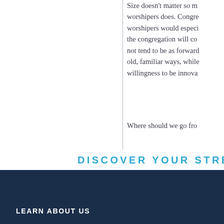Size doesn't matter so much as the quality of worshipers does. Congregations with older worshipers would especially find that the congregation will conserve and will not tend to be as forward-looking, clinging to old, familiar ways, while showing less willingness to be innovative.
Where should we go from here?
DISCOVER YOUR STRE
LEARN ABOUT US